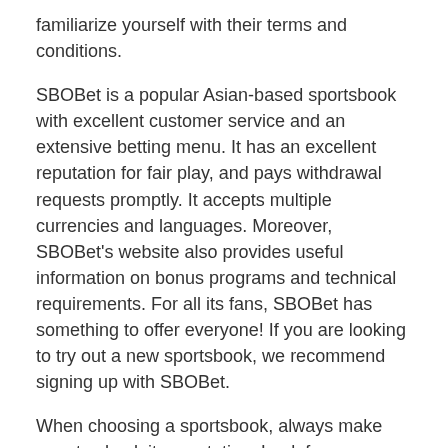familiarize yourself with their terms and conditions.
SBOBet is a popular Asian-based sportsbook with excellent customer service and an extensive betting menu. It has an excellent reputation for fair play, and pays withdrawal requests promptly. It accepts multiple currencies and languages. Moreover, SBOBet's website also provides useful information on bonus programs and technical requirements. For all its fans, SBOBet has something to offer everyone! If you are looking to try out a new sportsbook, we recommend signing up with SBOBet.
When choosing a sportsbook, always make sure to check its reputation. Look for a sportsbook with good odds. You can also check the sportsbook's terms and conditions to avoid problems in the future. Check out their customer support team to determine how quickly they respond to any problems. If they don't respond to your questions, move on to another sportsbook. You don't want to lose your money because of poor customer service. Besides, you should check the sportsbook's payout ratio.
Before opening your sportsbook, make sure you understand the